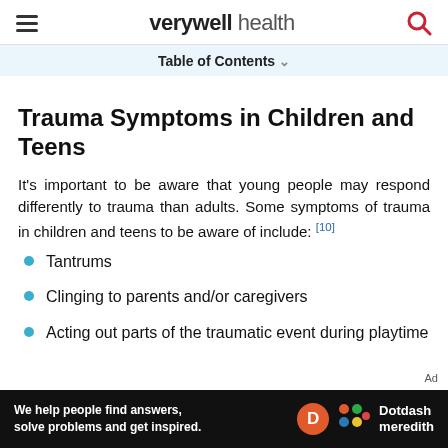verywell health
Table of Contents ∨
Trauma Symptoms in Children and Teens
It's important to be aware that young people may respond differently to trauma than adults. Some symptoms of trauma in children and teens to be aware of include: [10]
Tantrums
Clinging to parents and/or caregivers
Acting out parts of the traumatic event during playtime
Ad — We help people find answers, solve problems and get inspired. Dotdash meredith